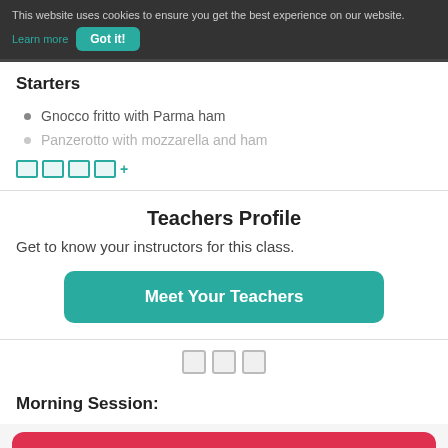This website uses cookies to ensure you get the best experience on our website. Learn more Got it!
Starters
Gnocco fritto with Parma ham
Panzerotto with mozzarella and ham
🏳️🏳️🏳️🏳️ +
Teachers Profile
Get to know your instructors for this class.
Meet Your Teachers
□□□
Morning Session:
□□□□